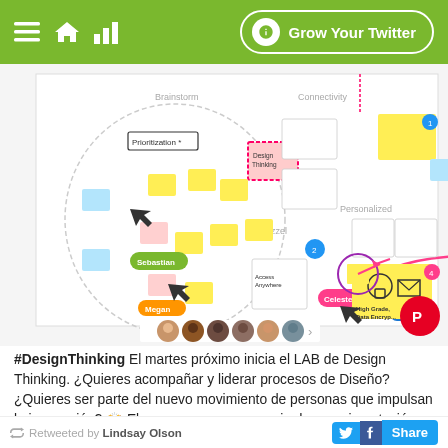Grow Your Twitter
[Figure (screenshot): A collaborative online design thinking canvas/whiteboard showing multiple colored sticky notes, sketches, user cursors labeled Sebastian, Megan, Celeste, Pol, and concept areas including Brainstorm, Connectivity, Personalized, Bezzel. Profile avatars visible at the bottom.]
#DesignThinking El martes próximo inicia el LAB de Design Thinking. ¿Quieres acompañar y liderar procesos de Diseño? ¿Quieres ser parte del nuevo movimiento de personas que impulsan la innovación? 🙌 El programa es un espacio de experimentación. También un viaje de rediseño3
Retweeted by Lindsay Olson  Share